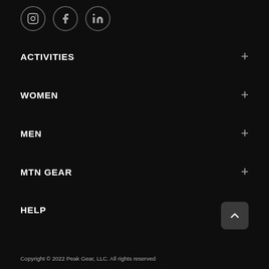[Figure (infographic): Social media icons for Instagram, Facebook, and LinkedIn in circular bordered buttons]
ACTIVITIES +
WOMEN +
MEN +
MTN GEAR +
HELP +
[Figure (infographic): Back to top button with upward chevron arrow]
Copyright © 2022 Peak Gear, LLC. All rights reserved